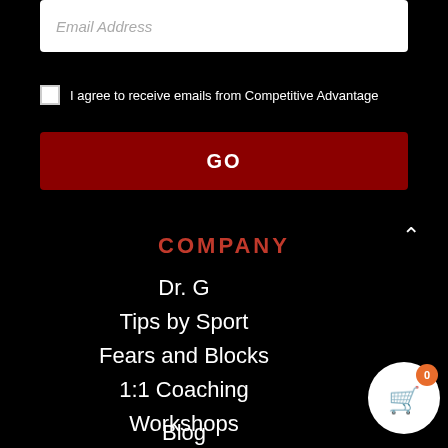[Figure (screenshot): Email address input field with placeholder text 'Email Address']
I agree to receive emails from Competitive Advantage
GO
COMPANY
Dr. G
Tips by Sport
Fears and Blocks
1:1 Coaching
Workshops
Blog